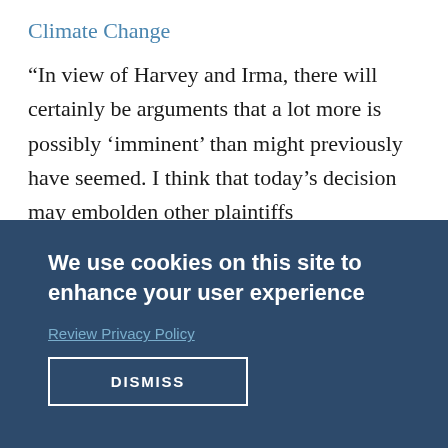Climate Change
“In view of Harvey and Irma, there will certainly be arguments that a lot more is possibly ‘imminent’ than might previously have seemed. I think that today’s decision may embolden other plaintiffs
[Figure (screenshot): Cookie consent overlay with dark blue background reading 'We use cookies on this site to enhance your user experience' with a 'Review Privacy Policy' link and a 'DISMISS' button]